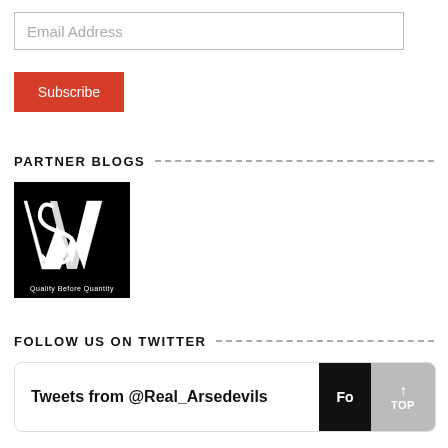Email Address
Subscribe
PARTNER BLOGS
[Figure (logo): Black square logo with stylized letters W, S, A overlapping in white, with tagline 'Quality Before Quantity' at the bottom]
FOLLOW US ON TWITTER
Tweets from @Real_Arsedevils